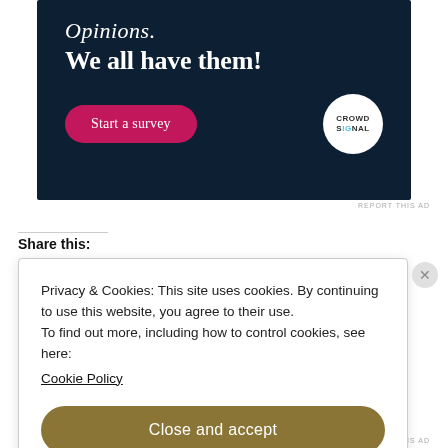[Figure (screenshot): Advertisement banner with dark navy background showing 'Opinions. We all have them!' text, a pink 'Start a survey' button, and the Crowdsignal logo circle on the right.]
REPORT THIS AD
Share this:
Privacy & Cookies: This site uses cookies. By continuing to use this website, you agree to their use.
To find out more, including how to control cookies, see here: Cookie Policy
Close and accept